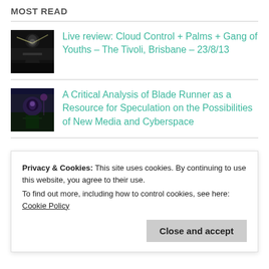MOST READ
Live review: Cloud Control + Palms + Gang of Youths – The Tivoli, Brisbane – 23/8/13
A Critical Analysis of Blade Runner as a Resource for Speculation on the Possibilities of New Media and Cyberspace
Privacy & Cookies: This site uses cookies. By continuing to use this website, you agree to their use.
To find out more, including how to control cookies, see here: Cookie Policy
Close and accept